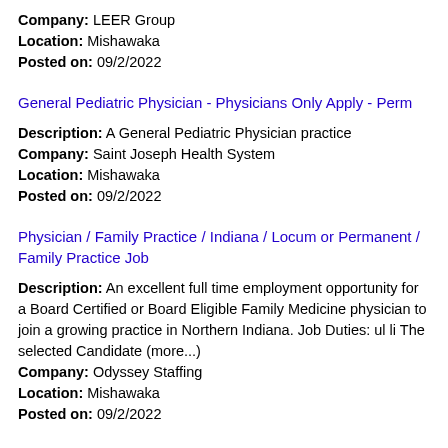Company: LEER Group
Location: Mishawaka
Posted on: 09/2/2022
General Pediatric Physician - Physicians Only Apply - Perm
Description: A General Pediatric Physician practice
Company: Saint Joseph Health System
Location: Mishawaka
Posted on: 09/2/2022
Physician / Family Practice / Indiana / Locum or Permanent / Family Practice Job
Description: An excellent full time employment opportunity for a Board Certified or Board Eligible Family Medicine physician to join a growing practice in Northern Indiana. Job Duties: ul li The selected Candidate (more...)
Company: Odyssey Staffing
Location: Mishawaka
Posted on: 09/2/2022
Salary in Joliet, Illinois Area | More details for Joliet, Illinois Jobs |Salary
Entry Level Real Estate Agent - Up to 100,000 a year